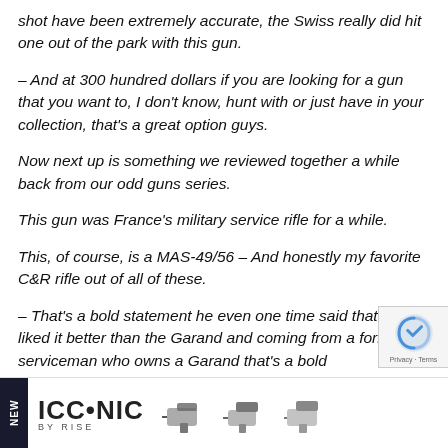shot have been extremely accurate, the Swiss really did hit one out of the park with this gun.
– And at 300 hundred dollars if you are looking for a gun that you want to, I don't know, hunt with or just have in your collection, that's a great option guys.
Now next up is something we reviewed together a while back from our odd guns series.
This gun was France's military service rifle for a while.
This, of course, is a MAS-49/56 – And honestly my favorite C&amp;R rifle out of all of these.
– That's a bold statement he even one time said that he liked it better than the Garand and coming from a former serviceman who owns a Garand that's a bold...
[Figure (other): Advertisement banner for ICONIC BY RISE with gun trigger products, NEW label on left side]
[Figure (other): reCAPTCHA badge with Privacy and Terms links]